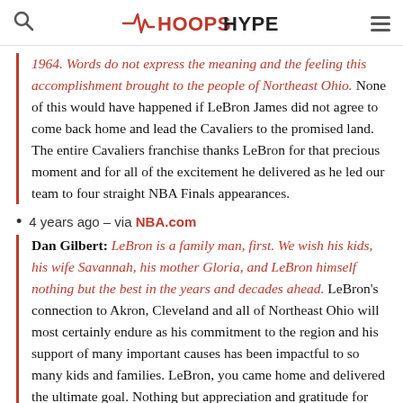HOOPSHYPE
1964. Words do not express the meaning and the feeling this accomplishment brought to the people of Northeast Ohio. None of this would have happened if LeBron James did not agree to come back home and lead the Cavaliers to the promised land. The entire Cavaliers franchise thanks LeBron for that precious moment and for all of the excitement he delivered as he led our team to four straight NBA Finals appearances.
4 years ago – via NBA.com
Dan Gilbert: LeBron is a family man, first. We wish his kids, his wife Savannah, his mother Gloria, and LeBron himself nothing but the best in the years and decades ahead. LeBron's connection to Akron, Cleveland and all of Northeast Ohio will most certainly endure as his commitment to the region and his support of many important causes has been impactful to so many kids and families. LeBron, you came home and delivered the ultimate goal. Nothing but appreciation and gratitude for everything you put into every moment you spent